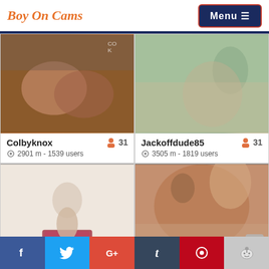Boy On Cams
[Figure (photo): Thumbnail photo for Colbyknox cam profile]
Colbyknox  31  2901 m - 1539 users
[Figure (photo): Thumbnail photo for Jackoffdude85 cam profile]
Jackoffdude85  31  3505 m - 1819 users
[Figure (photo): Thumbnail photo for third cam profile (bottom left)]
[Figure (photo): Thumbnail photo for fourth cam profile (bottom right)]
f  (Twitter bird)  G+  t  (Pinterest)  (Reddit)